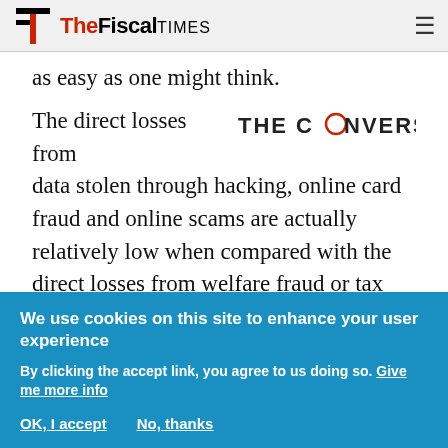THE FISCAL TIMES
as easy as one might think.
The direct losses from data stolen through hacking, online card fraud and online scams are actually relatively low when compared with the direct losses from welfare fraud or tax evasion. Moreover, current federal spending on cybersecurity dwarfs the losses suffered by victims of online scams, fraud and other crimes, by at least three or four times. And yet we have very little idea how this money is being spent, as it's hard
[Figure (logo): THE CONVERSATION logo with red circle O]
We use cookies on this site to enhance your user experience
By clicking the accept link, you agree to us doing so. Give me more info
OK, I accept   No, thanks